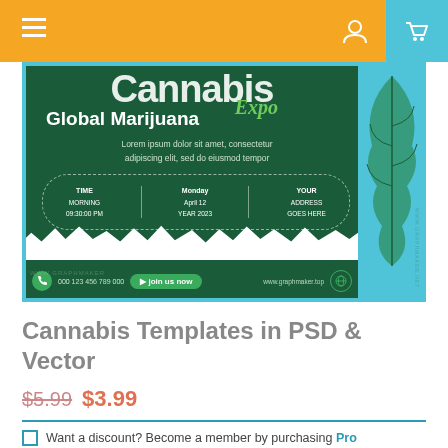Navigation bar with hamburger menu, user icon, cart icon
[Figure (illustration): Cannabis Global Marijuana Expo banner with dark green background, cannabis bud and leaf, lorem ipsum text, time/date/address info box, phone number 000 123 456 789 000, join us now button, www.graphmaker.top website]
Cannabis Templates in PSD & Vector
$5.99 $3.99
Want a discount? Become a member by purchasing Pro